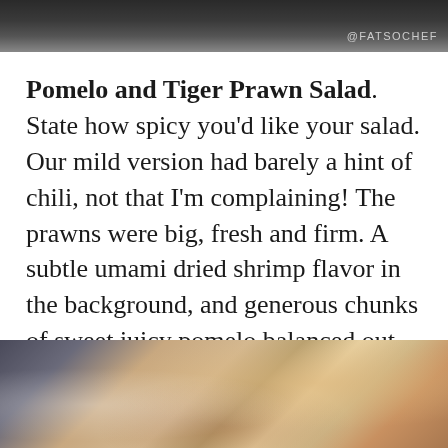[Figure (photo): Top portion of a food photo, dark background with blurred dish visible]
@FATSOCHEF
Pomelo and Tiger Prawn Salad. State how spicy you'd like your salad. Our mild version had barely a hint of chili, not that I'm complaining! The prawns were big, fresh and firm. A subtle umami dried shrimp flavor in the background, and generous chunks of sweet juicy pomelo balanced out the savory fish sauce lime dressing which was totally refreshing and appetizing!
[Figure (photo): Bottom portion showing a food dish, pomelo and tiger prawn salad with blurred colorful food items]